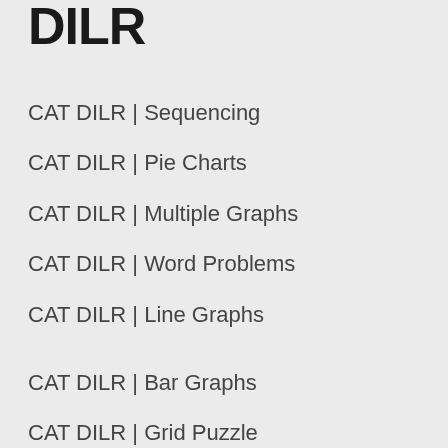DILR
CAT DILR | Sequencing
CAT DILR | Pie Charts
CAT DILR | Multiple Graphs
CAT DILR | Word Problems
CAT DILR | Line Graphs
CAT DILR | Bar Graphs
CAT DILR | Grid Puzzle
CAT DILR | Math Puzzle